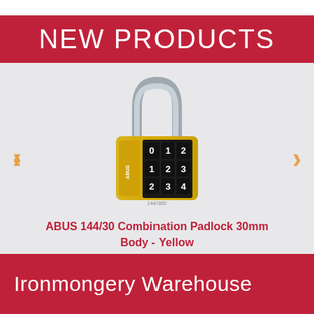NEW PRODUCTS
[Figure (photo): Yellow ABUS 144/30 combination padlock with chrome shackle and three digit combination wheels showing 0/1/2, 1/2/3, 2/3/4]
ABUS 144/30 Combination Padlock 30mm Body - Yellow
Ironmongery Warehouse